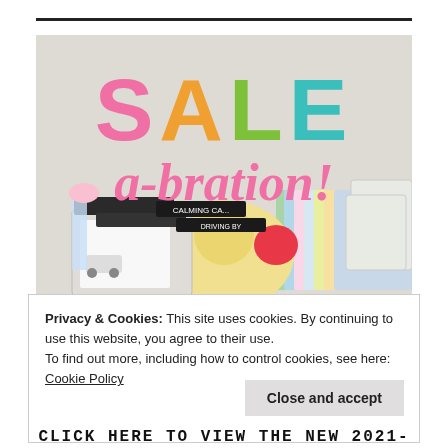[Figure (photo): Sale-a-bration promotional image showing colorful SALE text in pink, orange, green, and teal letters with 'a-bration!' in pink italic script below, surrounded by craft supplies including stamps, patterned paper, and embellishments on a light gray background]
Privacy & Cookies: This site uses cookies. By continuing to use this website, you agree to their use.
To find out more, including how to control cookies, see here:
Cookie Policy
Close and accept
CLICK HERE TO VIEW THE NEW 2021-